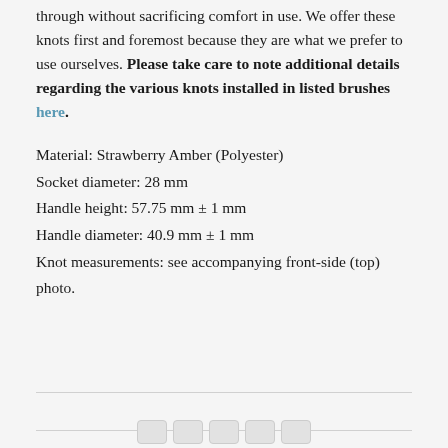through without sacrificing comfort in use. We offer these knots first and foremost because they are what we prefer to use ourselves. Please take care to note additional details regarding the various knots installed in listed brushes here.
Material: Strawberry Amber (Polyester)
Socket diameter: 28 mm
Handle height: 57.75 mm ± 1 mm
Handle diameter: 40.9 mm ± 1 mm
Knot measurements: see accompanying front-side (top) photo.